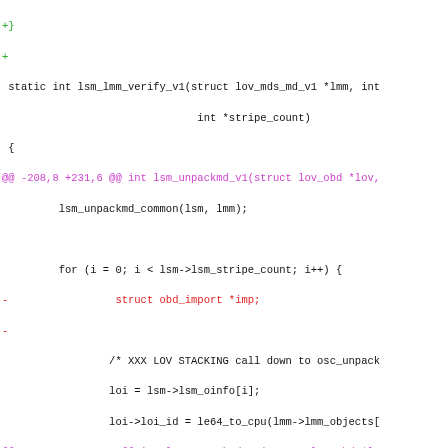[Figure (screenshot): A code diff view showing C source code changes. Lines with '+' prefix are in green, lines with '-' prefix are in red, diff hunk headers '@@ ... @@' are in magenta, and context lines are in black. The code shows modifications to lsm_lmm_verify_v1 and lsm_unpackmd_v1 functions.]